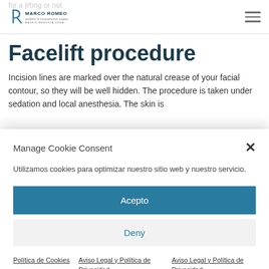Marco Romeo — aesthetic & reconstructive surgery — MADRID MENORCA DUBAI
Facelift procedure
Incision lines are marked over the natural crease of your facial contour, so they will be well hidden. The procedure is taken under sedation and local anesthesia. The skin is
Manage Cookie Consent
Utilizamos cookies para optimizar nuestro sitio web y nuestro servicio.
Acepto
Deny
Política de Cookies
Aviso Legal y Política de Privacidad
Aviso Legal y Política de Privacidad